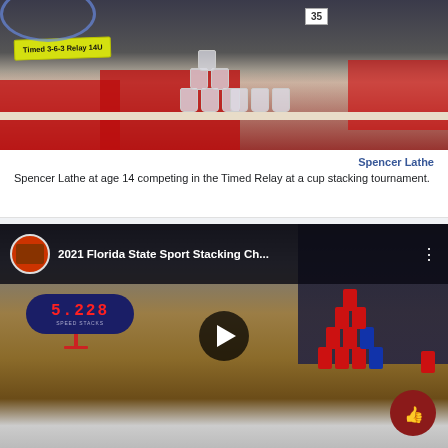[Figure (photo): Photo of Spencer Lathe at age 14 competing in the Timed 3-6-3 Relay 14U cup stacking tournament. Players in red shirts with stacked plastic cups on a table.]
Spencer Lathe
Spencer Lathe at age 14 competing in the Timed Relay at a cup stacking tournament.
[Figure (screenshot): YouTube video thumbnail for '2021 Florida State Sport Stacking Ch...' showing a digital timer reading 5.228 (Speed Stacks brand) on a wooden table with red and blue stacked cups, person in sport stacking attire visible on right. Play button overlay in center. Like button (thumbs up) in bottom right corner.]